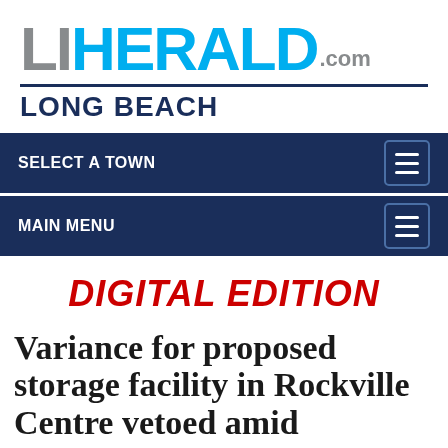[Figure (logo): LI Herald.com Long Beach newspaper logo with LI in grey, HERALD in cyan/blue, .com in grey, and LONG BEACH in dark navy below a horizontal rule]
[Figure (screenshot): Navigation bar with SELECT A TOWN label and hamburger menu icon on dark navy background]
[Figure (screenshot): Navigation bar with MAIN MENU label and hamburger menu icon on dark navy background]
DIGITAL EDITION
Variance for proposed storage facility in Rockville Centre vetoed amid